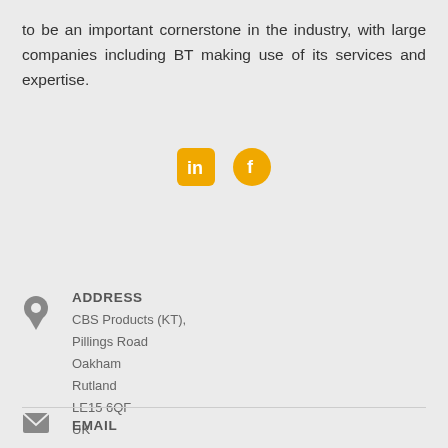to be an important cornerstone in the industry, with large companies including BT making use of its services and expertise.
[Figure (illustration): LinkedIn and Facebook social media icons in orange/yellow color]
ADDRESS
CBS Products (KT),
Pillings Road
Oakham
Rutland
LE15 6QF
UK
EMAIL